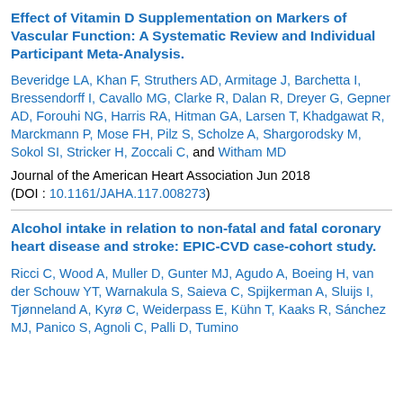Effect of Vitamin D Supplementation on Markers of Vascular Function: A Systematic Review and Individual Participant Meta-Analysis.
Beveridge LA, Khan F, Struthers AD, Armitage J, Barchetta I, Bressendorff I, Cavallo MG, Clarke R, Dalan R, Dreyer G, Gepner AD, Forouhi NG, Harris RA, Hitman GA, Larsen T, Khadgawat R, Marckmann P, Mose FH, Pilz S, Scholze A, Shargorodsky M, Sokol SI, Stricker H, Zoccali C, and Witham MD
Journal of the American Heart Association Jun 2018
(DOI : 10.1161/JAHA.117.008273)
Alcohol intake in relation to non-fatal and fatal coronary heart disease and stroke: EPIC-CVD case-cohort study.
Ricci C, Wood A, Muller D, Gunter MJ, Agudo A, Boeing H, van der Schouw YT, Warnakula S, Saieva C, Spijkerman A, Sluijs I, Tjønneland A, Kyrø C, Weiderpass E, Kühn T, Kaaks R, Sánchez MJ, Panico S, Agnoli C, Palli D, Tumino